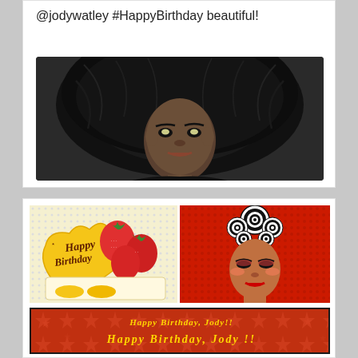@jodywatley #HappyBirthday beautiful!
[Figure (photo): Black and white portrait photo of a woman with large natural afro hair, dramatic makeup, looking into camera]
[Figure (photo): Birthday collage: left panel shows Happy Birthday cake with strawberries on dotted background; right panel shows woman with decorative spiral headpiece on red background; bottom panel shows 'Happy Birthday, Jody!!' text on red star-patterned background]